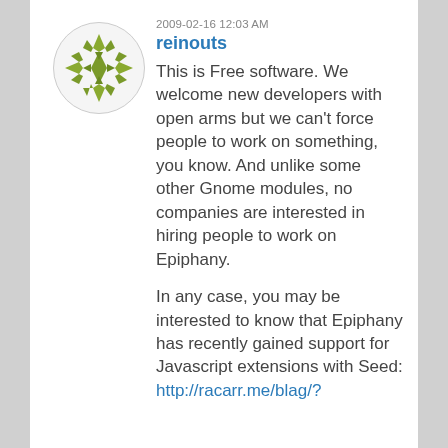[Figure (illustration): Circular avatar with olive/green geometric snowflake pattern on white background]
2009-02-16 12:03 AM
reinouts
This is Free software. We welcome new developers with open arms but we can't force people to work on something, you know. And unlike some other Gnome modules, no companies are interested in hiring people to work on Epiphany.

In any case, you may be interested to know that Epiphany has recently gained support for Javascript extensions with Seed: http://racarr.me/blag/?